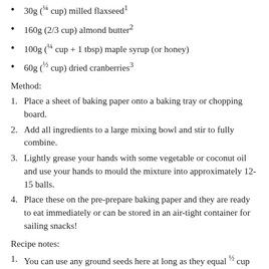30g (¼ cup) milled flaxseed1
160g (2/3 cup) almond butter2
100g (¼ cup + 1 tbsp) maple syrup (or honey)
60g (½ cup) dried cranberries3
Method:
Place a sheet of baking paper onto a baking tray or chopping board.
Add all ingredients to a large mixing bowl and stir to fully combine.
Lightly grease your hands with some vegetable or coconut oil and use your hands to mould the mixture into approximately 12-15 balls.
Place these on the pre-prepare baking paper and they are ready to eat immediately or can be stored in an air-tight container for sailing snacks!
Recipe notes:
You can use any ground seeds here at long as they equal ½ cup in